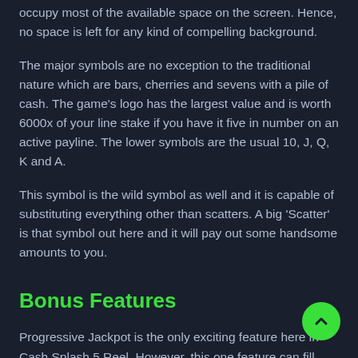occupy most of the available space on the screen. Hence, no space is left for any kind of compelling background.
The major symbols are no exception to the traditional nature which are bars, cherries and sevens with a pile of cash. The game's logo has the largest value and is worth 6000x of your line stake if you have it five in number on an active payline. The lower symbols are the usual 10, J, Q, K and A.
This symbol is the wild symbol as well and it is capable of substituting everything other than scatters. A big 'Scatter' is that symbol out here and it will pay out some handsome amounts to you.
Bonus Features
Progressive Jackpot is the only exciting feature here in Cash Splash 5 Reel. However, this one feature can fill your pockets like equivalent ten other minor features. You can win here if you will be able to land five Cash Splash symbols on the last payline. It starts from the bottom left side, zigzags among the reels and finally finishes at the bottom right side.